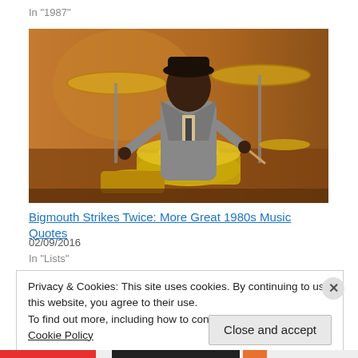In "1987"
[Figure (photo): A musician playing drums and cymbals on stage, wearing a grey suit, with gold/yellow drum kit and cymbals visible in a warm-toned studio or stage setting.]
Bigmouth Strikes Twice: More Great 1980s Music Quotes
02/09/2016
In "Lists"
Privacy & Cookies: This site uses cookies. By continuing to use this website, you agree to their use.
To find out more, including how to control cookies, see here: Cookie Policy